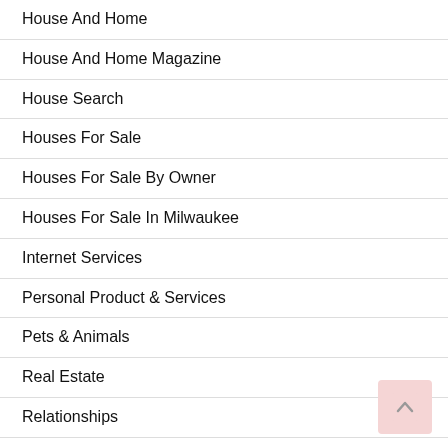House And Home
House And Home Magazine
House Search
Houses For Sale
Houses For Sale By Owner
Houses For Sale In Milwaukee
Internet Services
Personal Product & Services
Pets & Animals
Real Estate
Relationships
Software
Sports & Athletics
Technology